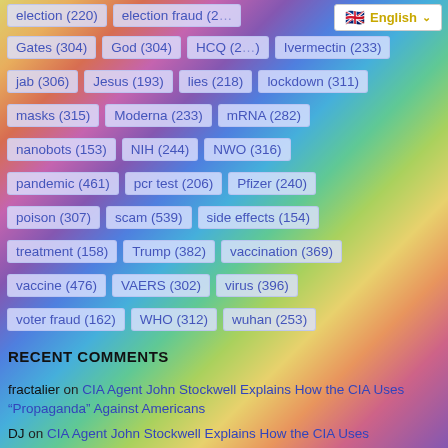election (220)  election fraud (2…
Gates (304)  God (304)  HCQ (2…)  Ivermectin (233)
jab (306)  Jesus (193)  lies (218)  lockdown (311)
masks (315)  Moderna (233)  mRNA (282)
nanobots (153)  NIH (244)  NWO (316)
pandemic (461)  pcr test (206)  Pfizer (240)
poison (307)  scam (539)  side effects (154)
treatment (158)  Trump (382)  vaccination (369)
vaccine (476)  VAERS (302)  virus (396)
voter fraud (162)  WHO (312)  wuhan (253)
RECENT COMMENTS
fractalier on CIA Agent John Stockwell Explains How the CIA Uses “Propaganda” Against Americans
DJ on CIA Agent John Stockwell Explains How the CIA Uses “Propaganda” Against Americans